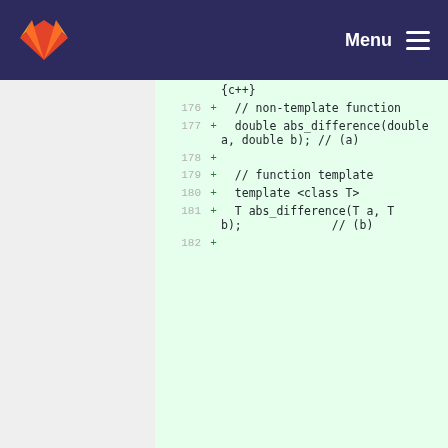GitLab Menu
{c++}
176 + // non-template function
177 + double abs_difference(double a, double b); // (a)
178 +
179 + // function template
180 + template <class T>
181 + T abs_difference(T a, T b); // (b)
182 +